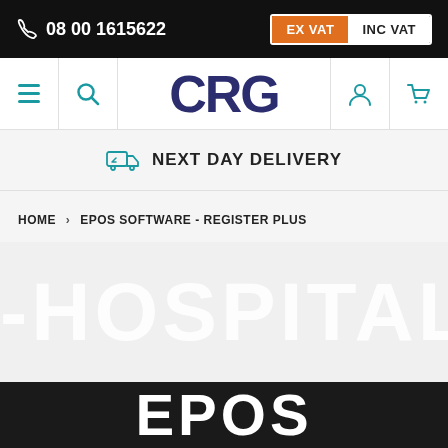☎ 08001615622 | EX VAT | INC VAT
[Figure (logo): CRG logo with navigation icons: hamburger menu, search, user account, and cart]
NEXT DAY DELIVERY
HOME > EPOS SOFTWARE - REGISTER PLUS
[Figure (screenshot): Large grey background with HOSPITALITY text in white, partially cropped]
[Figure (screenshot): Dark bar image with EPOS text in white bold letters]